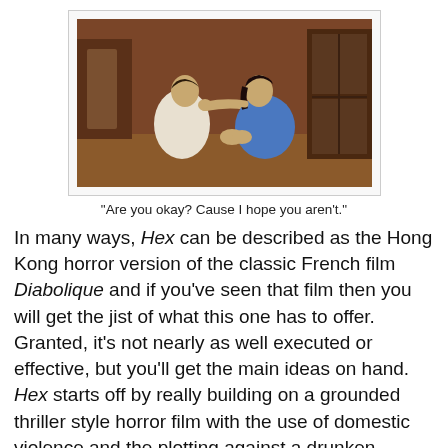[Figure (photo): Two people sitting on the floor facing each other in an indoor scene, one wearing white and one wearing blue, appearing to be in a tense moment from a film]
"Are you okay? Cause I hope you aren't."
In many ways, Hex can be described as the Hong Kong horror version of the classic French film Diabolique and if you've seen that film then you will get the jist of what this one has to offer. Granted, it's not nearly as well executed or effective, but you'll get the main ideas on hand. Hex starts off by really building on a grounded thriller style horror film with the use of domestic violence and the plotting against a drunken, belligerent husband as its foundation. As the film plays out, this is easily one of the better parts of the film. It didn't feel like the fantastical over-the-top style that usually comes with Hong Kong horror and it was somewhat refreshing in its restrained efforts. Tanny Tien Ni, Wang Jung, and Chen Szu-chia work the chemistry of the leading actor triangle well and director Kuei Chih-hung really builds